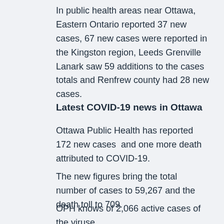In public health areas near Ottawa, Eastern Ontario reported 37 new cases, 67 new cases were reported in the Kingston region, Leeds Grenville Lanark saw 59 additions to the cases totals and Renfrew county had 28 new cases.
Latest COVID-19 news in Ottawa
Ottawa Public Health has reported 172 new cases  and one more death attributed to COVID-19.
The new figures bring the total number of cases to 59,267 and the death toll to 709.
OPH knows of 2,066 active cases of the viruse.